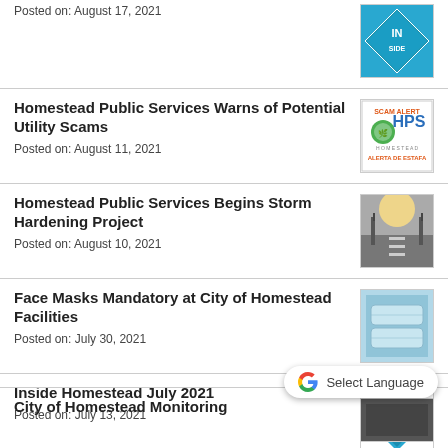Posted on: August 17, 2021
Homestead Public Services Warns of Potential Utility Scams
Posted on: August 11, 2021
Homestead Public Services Begins Storm Hardening Project
Posted on: August 10, 2021
Face Masks Mandatory at City of Homestead Facilities
Posted on: July 30, 2021
Inside Homestead July 2021
Posted on: July 13, 2021
City of Homestead Monitoring